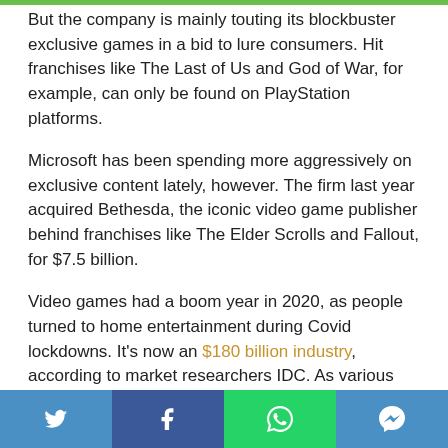But the company is mainly touting its blockbuster exclusive games in a bid to lure consumers. Hit franchises like The Last of Us and God of War, for example, can only be found on PlayStation platforms.
Microsoft has been spending more aggressively on exclusive content lately, however. The firm last year acquired Bethesda, the iconic video game publisher behind franchises like The Elder Scrolls and Fallout, for $7.5 billion.
Video games had a boom year in 2020, as people turned to home entertainment during Covid lockdowns. It's now an $180 billion industry, according to market researchers IDC. As various countries unwind their
[Figure (other): Social media share bar with Twitter, Facebook, WhatsApp, and Messenger buttons]